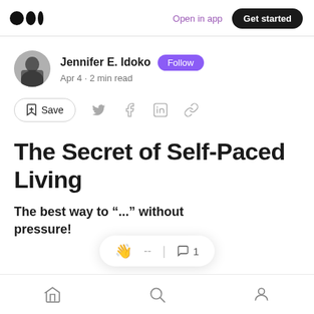Medium logo | Open in app | Get started
Jennifer E. Idoko · Follow · Apr 4 · 2 min read
Save (action bar with social share icons)
The Secret of Self-Paced Living
The best way to ... without pressure!
Home | Search | Profile (bottom nav)